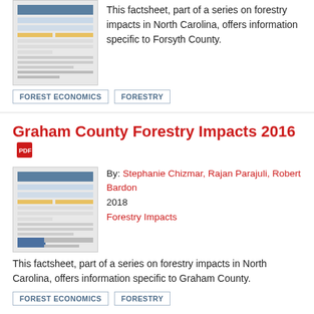[Figure (screenshot): Thumbnail of Forsyth County Forestry Impacts 2016 factsheet document]
This factsheet, part of a series on forestry impacts in North Carolina, offers information specific to Forsyth County.
FOREST ECONOMICS
FORESTRY
Graham County Forestry Impacts 2016
[Figure (screenshot): Thumbnail of Graham County Forestry Impacts 2016 factsheet document]
By: Stephanie Chizmar, Rajan Parajuli, Robert Bardon
2018
Forestry Impacts
This factsheet, part of a series on forestry impacts in North Carolina, offers information specific to Graham County.
FOREST ECONOMICS
FORESTRY
Greene County Forestry Impacts 2016